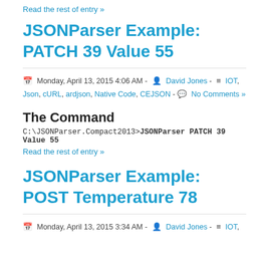Read the rest of entry »
JSONParser Example: PATCH 39 Value 55
Monday, April 13, 2015 4:06 AM - David Jones - IOT, Json, cURL, ardjson, Native Code, CEJSON - No Comments »
The Command
C:\JSONParser.Compact2013>JSONParser PATCH 39 Value 55
Read the rest of entry »
JSONParser Example: POST Temperature 78
Monday, April 13, 2015 3:34 AM - David Jones - IOT,